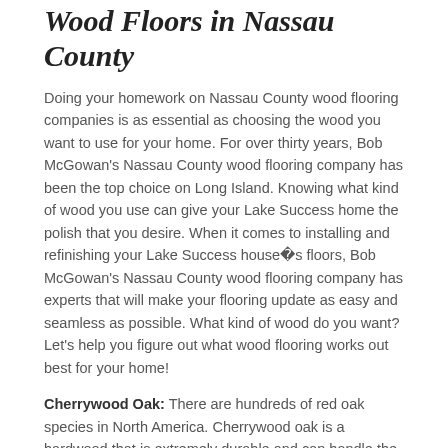Wood Floors in Nassau County
Doing your homework on Nassau County wood flooring companies is as essential as choosing the wood you want to use for your home. For over thirty years, Bob McGowan's Nassau County wood flooring company has been the top choice on Long Island. Knowing what kind of wood you use can give your Lake Success home the polish that you desire. When it comes to installing and refinishing your Lake Success house�s floors, Bob McGowan's Nassau County wood flooring company has experts that will make your flooring update as easy and seamless as possible. What kind of wood do you want? Let's help you figure out what wood flooring works out best for your home!
Cherrywood Oak: There are hundreds of red oak species in North America. Cherrywood oak is a hardwood that is extremely durable and can handle the Nassau County climate, the comings and goings of a family, including pets. It bleaches and stains really well and it is easy to refinish. It is hypoallergenic and is typically a moderate price point in Lake Success...